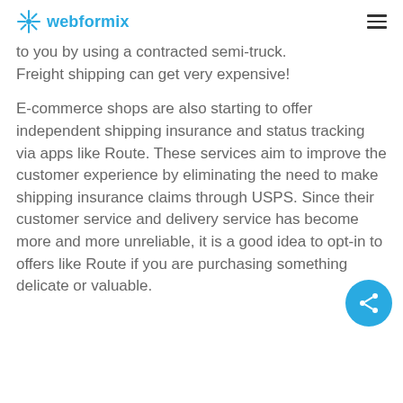webformix
to you by using a contracted semi-truck. Freight shipping can get very expensive!
E-commerce shops are also starting to offer independent shipping insurance and status tracking via apps like Route. These services aim to improve the customer experience by eliminating the need to make shipping insurance claims through USPS. Since their customer service and delivery service has become more and more unreliable, it is a good idea to opt-in to offers like Route if you are purchasing something delicate or valuable.